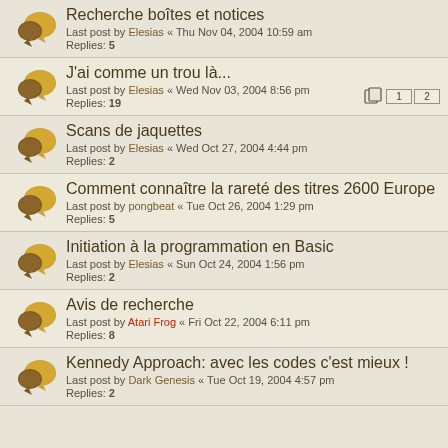Recherche boîtes et notices
Last post by Elesias « Thu Nov 04, 2004 10:59 am
Replies: 5
J'ai comme un trou là...
Last post by Elesias « Wed Nov 03, 2004 8:56 pm
Replies: 19 [pages: 1 2]
Scans de jaquettes
Last post by Elesias « Wed Oct 27, 2004 4:44 pm
Replies: 2
Comment connaître la rareté des titres 2600 Europe
Last post by pongbeat « Tue Oct 26, 2004 1:29 pm
Replies: 5
Initiation à la programmation en Basic
Last post by Elesias « Sun Oct 24, 2004 1:56 pm
Replies: 2
Avis de recherche
Last post by Atari Frog « Fri Oct 22, 2004 6:11 pm
Replies: 8
Kennedy Approach: avec les codes c'est mieux !
Last post by Dark Genesis « Tue Oct 19, 2004 4:57 pm
Replies: 2